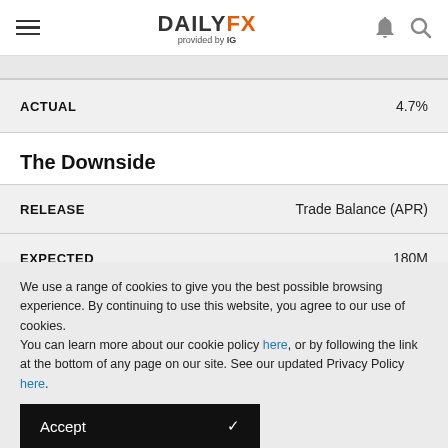DAILYFX provided by IG
| ACTUAL |  |
| --- | --- |
| ACTUAL | 4.7% |
The Downside
| RELEASE | Trade Balance (APR) |
| --- | --- |
| RELEASE | Trade Balance (APR) |
| EXPECTED | 180M |
We use a range of cookies to give you the best possible browsing experience. By continuing to use this website, you agree to our use of cookies.
You can learn more about our cookie policy here, or by following the link at the bottom of any page on our site. See our updated Privacy Policy here.